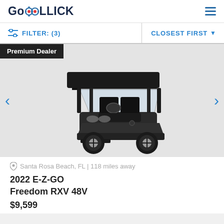GoROLLICK
FILTER: (3)   CLOSEST FIRST
[Figure (photo): Black E-Z-GO Freedom RXV 48V golf cart on a white/grey background, viewed from a front-left angle. Cart has a black roof/canopy, black seats, a windshield, and four wheels. Premium Dealer badge in top-left corner. Navigation arrows on left and right sides.]
Santa Rosa Beach, FL | 118 miles away
2022 E-Z-GO Freedom RXV 48V
$9,599